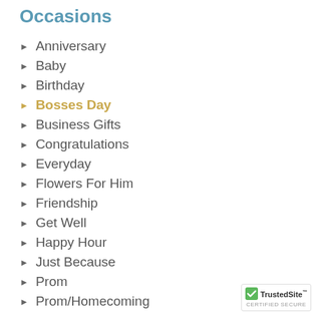Occasions
Anniversary
Baby
Birthday
Bosses Day
Business Gifts
Congratulations
Everyday
Flowers For Him
Friendship
Get Well
Happy Hour
Just Because
Prom
Prom/Homecoming